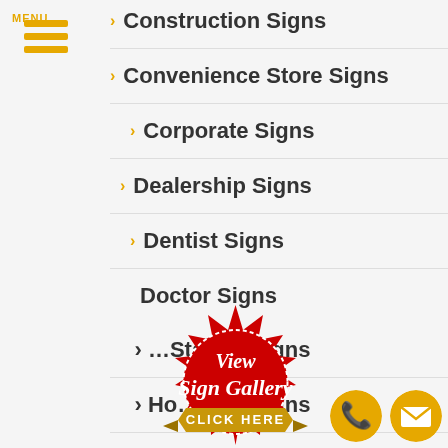[Figure (logo): Hamburger menu icon with three horizontal golden bars and MENU label below]
Construction Signs
Convenience Store Signs
Corporate Signs
Dealership Signs
Dentist Signs
Doctor Signs
…tation Signs
Ho…pital Signs
Hospitality Signs
[Figure (illustration): Red stamp/badge overlay with white script text 'View Sign Gallery' and gold ribbon banner reading 'CLICK HERE']
[Figure (illustration): Gold phone icon circle and gold mail/envelope icon circle at bottom right]